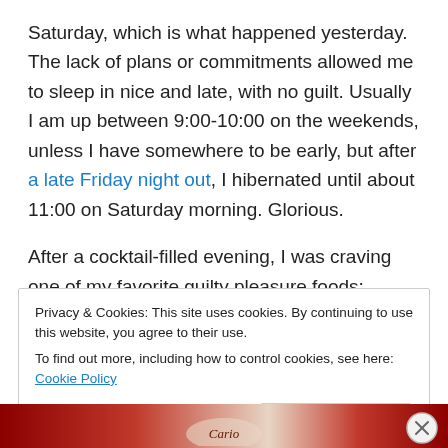Saturday, which is what happened yesterday. The lack of plans or commitments allowed me to sleep in nice and late, with no guilt. Usually I am up between 9:00-10:00 on the weekends, unless I have somewhere to be early, but after a late Friday night out, I hibernated until about 11:00 on Saturday morning. Glorious.
After a cocktail-filled evening, I was craving one of my favorite guilty pleasure foods: Stouffer's French Bread Pizza. I try not to eat these too often, but every one in a while the craving hits and I allow myself to indulge. I had
Privacy & Cookies: This site uses cookies. By continuing to use this website, you agree to their use.
To find out more, including how to control cookies, see here: Cookie Policy
Close and accept